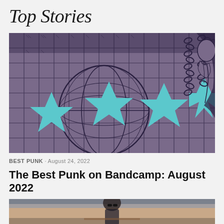Top Stories
[Figure (illustration): Punk album artwork with purple grid/globe pattern, teal spiky star shapes, chains, and a stylized figure on the right side]
BEST PUNK · August 24, 2022
The Best Punk on Bandcamp: August 2022
[Figure (photo): Bottom cropped photo showing a person with sunglasses sitting on a bench outdoors]